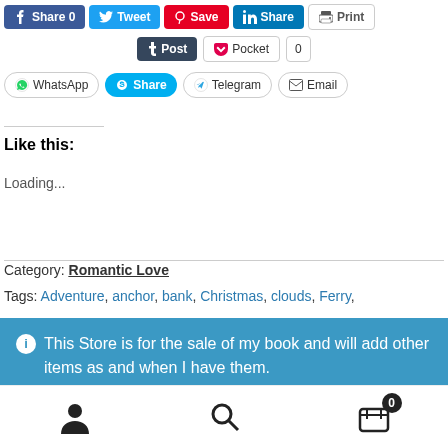[Figure (screenshot): Social share buttons row 1: Facebook Share 0, Tweet, Pinterest Save, LinkedIn Share, Print]
[Figure (screenshot): Social share buttons row 2: Tumblr Post, Pocket with count 0]
[Figure (screenshot): Social share buttons row 3: WhatsApp, Skype Share, Telegram, Email]
Like this:
Loading...
Category: Romantic Love
Tags: Adventure, anchor, bank, Christmas, clouds, Ferry,
This Store is for the sale of my book and will add other items as and when I have them.
Dismiss
[Figure (screenshot): Bottom navigation bar with user icon, search icon, and cart icon with badge 0]